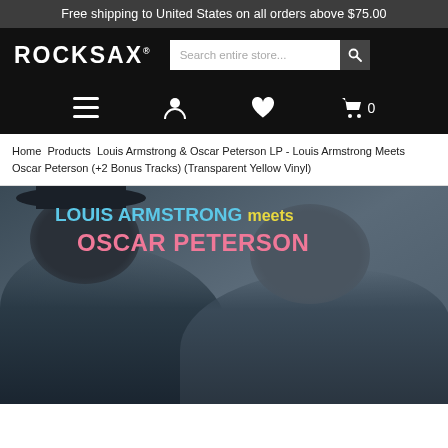Free shipping to United States on all orders above $75.00
[Figure (logo): ROCKSAX logo in white bold text on black background with search bar]
Home  Products  Louis Armstrong & Oscar Peterson LP - Louis Armstrong Meets Oscar Peterson (+2 Bonus Tracks) (Transparent Yellow Vinyl)
[Figure (photo): Album cover for Louis Armstrong meets Oscar Peterson - shows two men, with blue/cyan text LOUIS ARMSTRONG, yellow text meets, and pink text OSCAR PETERSON]